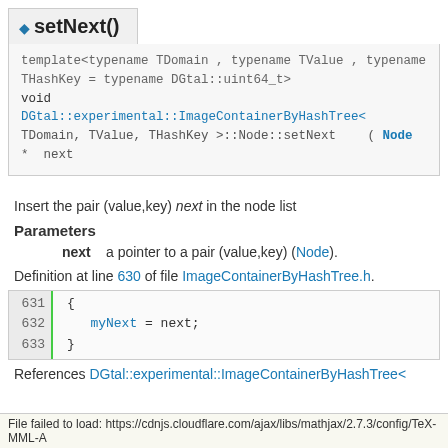◆ setNext()
template<typename TDomain , typename TValue , typename THashKey = typename DGtal::uint64_t>
void
DGtal::experimental::ImageContainerByHashTree<
TDomain, TValue, THashKey >::Node::setNext  ( Node *  next
Insert the pair (value,key) next in the node list
Parameters
next a pointer to a pair (value,key) (Node).
Definition at line 630 of file ImageContainerByHashTree.h.
631
632
633
{
   myNext = next;
}
References DGtal::experimental::ImageContainerByHashTree<
File failed to load: https://cdnjs.cloudflare.com/ajax/libs/mathjax/2.7.3/config/TeX-MML-A